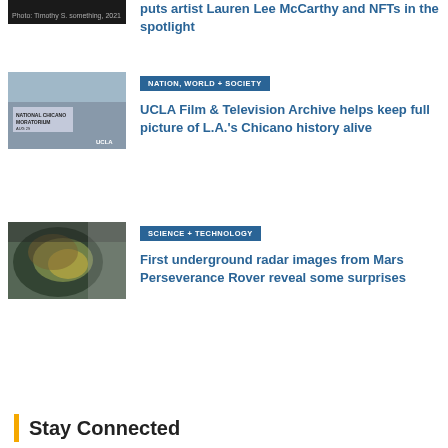puts artist Lauren Lee McCarthy and NFTs in the spotlight
[Figure (photo): Partial thumbnail image at top, dark background with small photo credit text]
[Figure (photo): Black and white photo of Chicano Moratorium protest with signs reading 'National Chicano Moratorium Aug 29', UCLA watermark]
NATION, WORLD + SOCIETY
UCLA Film & Television Archive helps keep full picture of L.A.'s Chicano history alive
[Figure (photo): Colorful satellite or radar image of Mars terrain with greens, yellows, and grey tones]
SCIENCE + TECHNOLOGY
First underground radar images from Mars Perseverance Rover reveal some surprises
Stay Connected